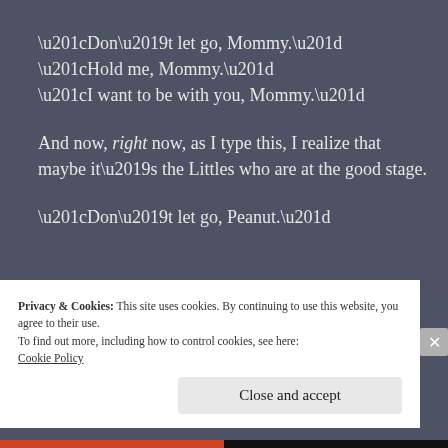“Don’t let go, Mommy.” “Hold me, Mommy.” “I want to be with you, Mommy.”
And now, right now, as I type this, I realize that maybe it’s the Littles who are at the good stage.
“Don’t let go, Peanut.”
Privacy & Cookies: This site uses cookies. By continuing to use this website, you agree to their use.
To find out more, including how to control cookies, see here: Cookie Policy